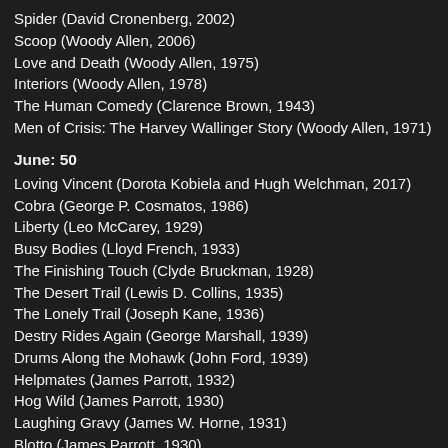Spider (David Cronenberg, 2002)
Scoop (Woody Allen, 2006)
Love and Death (Woody Allen, 1975)
Interiors (Woody Allen, 1978)
The Human Comedy (Clarence Brown, 1943)
Men of Crisis: The Harvey Wallinger Story (Woody Allen, 1971)
June: 50
Loving Vincent (Dorota Kobiela and Hugh Welchman, 2017)
Cobra (George P. Cosmatos, 1986)
Liberty (Leo McCarey, 1929)
Busy Bodies (Lloyd French, 1933)
The Finishing Touch (Clyde Bruckman, 1928)
The Desert Trail (Lewis D. Collins, 1935)
The Lonely Trail (Joseph Kane, 1936)
Destry Rides Again (George Marshall, 1939)
Drums Along the Mohawk (John Ford, 1939)
Helpmates (James Parrott, 1932)
Hog Wild (James Parrott, 1930)
Laughing Gravy (James W. Horne, 1931)
Blotto (James Parrott, 1930)